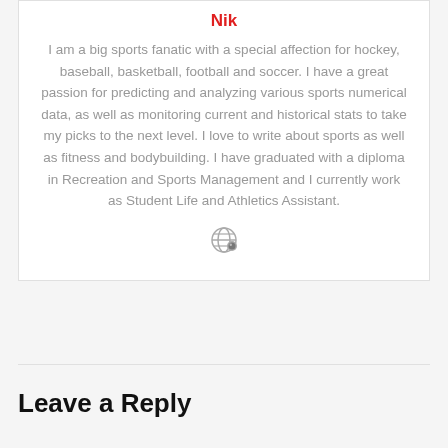Nik
I am a big sports fanatic with a special affection for hockey, baseball, basketball, football and soccer. I have a great passion for predicting and analyzing various sports numerical data, as well as monitoring current and historical stats to take my picks to the next level. I love to write about sports as well as fitness and bodybuilding. I have graduated with a diploma in Recreation and Sports Management and I currently work as Student Life and Athletics Assistant.
[Figure (illustration): Globe/world icon in gray]
Leave a Reply